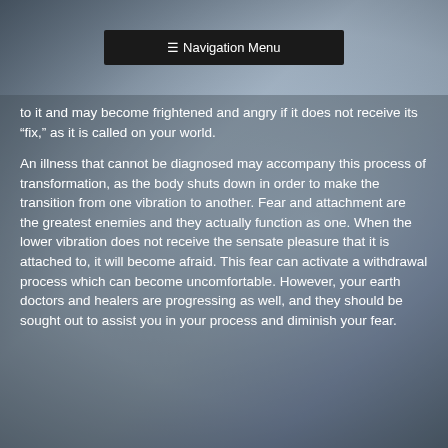≡ Navigation Menu
to it and may become frightened and angry if it does not receive its “fix,” as it is called on your world.
An illness that cannot be diagnosed may accompany this process of transformation, as the body shuts down in order to make the transition from one vibration to another. Fear and attachment are the greatest enemies and they actually function as one. When the lower vibration does not receive the sensate pleasure that it is attached to, it will become afraid. This fear can activate a withdrawal process which can become uncomfortable. However, your earth doctors and healers are progressing as well, and they should be sought out to assist you in your process and diminish your fear.